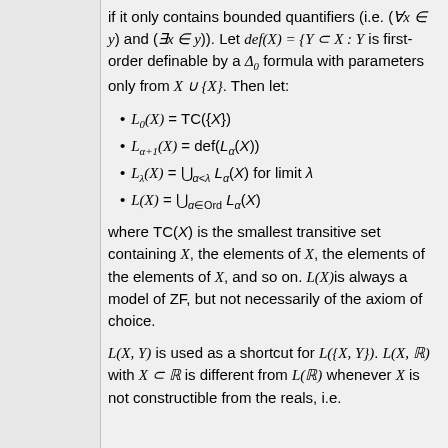if it only contains bounded quantifiers (i.e. (∀x ∈ y) and (∃x ∈ y)). Let def(X) = {Y ⊂ X : Y is first-order definable by a Δ₀ formula with parameters only from X ∪ {X}}. Then let:
L₀(X) = TC({X})
Lα+1(X) = def(Lα(X))
Lλ(X) = ∪α<λ Lα(X) for limit λ
L(X) = ∪α∈Ord Lα(X)
where TC(X) is the smallest transitive set containing X, the elements of X, the elements of the elements of X, and so on. L(X) is always a model of ZF, but not necessarily of the axiom of choice.
L(X, Y) is used as a shortcut for L({X, Y}). L(X, ℝ) with X ⊂ ℝ is different from L(ℝ) whenever X is not constructible from the reals, i.e.